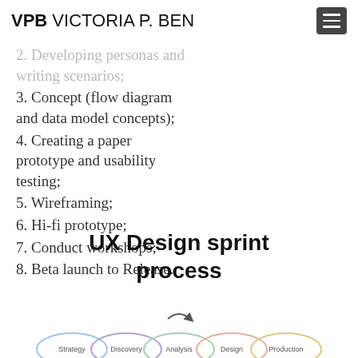VPB VICTORIA P. BEN
2. Developing personas and writing scenarios;
3. Concept (flow diagram and data model concepts);
4. Creating a paper prototype and usability testing;
5. Wireframing;
6. Hi-fi prototype;
7. Conduct workshops;
8. Beta launch to Release.
UX Design sprint process
[Figure (infographic): Partial view of a circular/overlapping UX design sprint process diagram showing phases: Strategy, Discovery, Analysis, Design, Production]